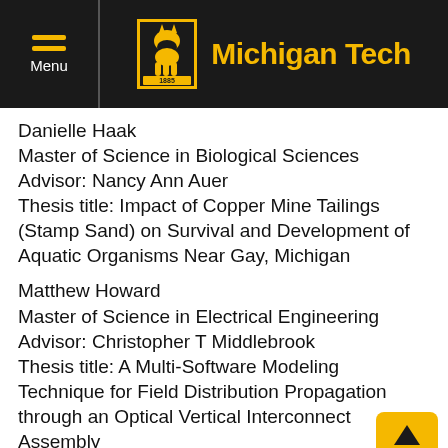Menu | Michigan Tech
Danielle Haak
Master of Science in Biological Sciences
Advisor: Nancy Ann Auer
Thesis title: Impact of Copper Mine Tailings (Stamp Sand) on Survival and Development of Aquatic Organisms Near Gay, Michigan
Matthew Howard
Master of Science in Electrical Engineering
Advisor: Christopher T Middlebrook
Thesis title: A Multi-Software Modeling Technique for Field Distribution Propagation through an Optical Vertical Interconnect Assembly